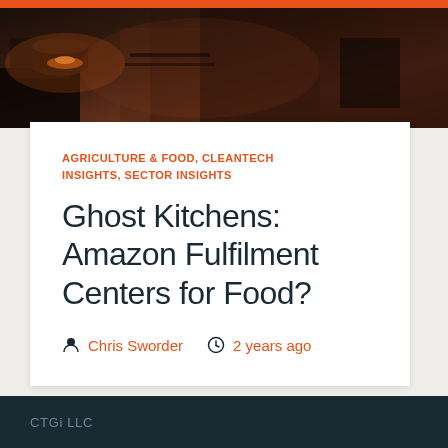[Figure (photo): Dark atmospheric photo of a professional kitchen with cooking equipment and warm light]
AGRICULTURE & FOOD, CLEANTECH INSIGHTS, SECTOR INSIGHTS
Ghost Kitchens: Amazon Fulfilment Centers for Food?
Chris Sworder   2 years ago
CTGi LLC